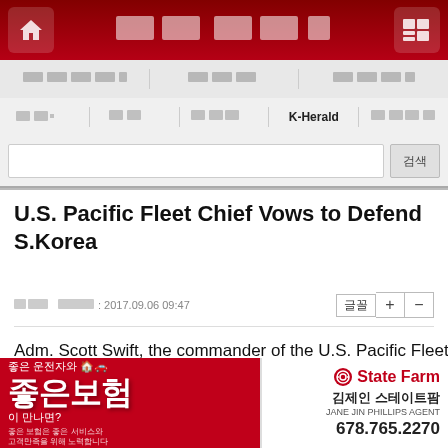Korean news website header navigation bar with home icon, Korean title text, and menu icon
Navigation rows with Korean menu items and K-Herald tab
Search bar with search button
U.S. Pacific Fleet Chief Vows to Defend S.Korea
2017.09.06 09:47 — font size controls: 글꼴 + −
Adm. Scott Swift, the commander of the U.S. Pacific Fleet, pl...
[Figure (advertisement): Red advertisement banner for 좋은보험 (Good Insurance) with State Farm branding, 김제인 스테이트팜, JANE JIN PHILLIPS AGENT, phone 678.765.2270]